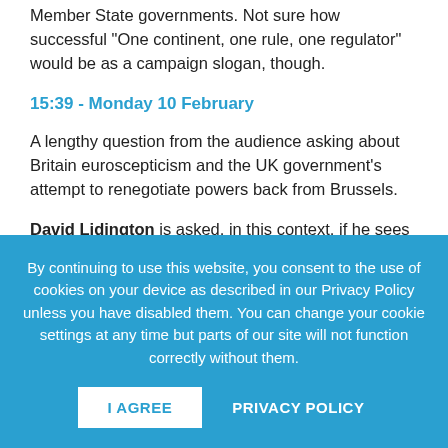Member State governments. Not sure how successful “One continent, one rule, one regulator” would be as a campaign slogan, though.
15:39 - Monday 10 February
A lengthy question from the audience asking about Britain euroscepticism and the UK government's attempt to renegotiate powers back from Brussels.
David Lidington is asked, in this context, if he sees the value of European citizenship. He responds:
By continuing to use this website, you consent to the use of cookies on your device as described in our Privacy Policy unless you have disabled them. You can change your cookie settings at any time but parts of our site will not function correctly without them.